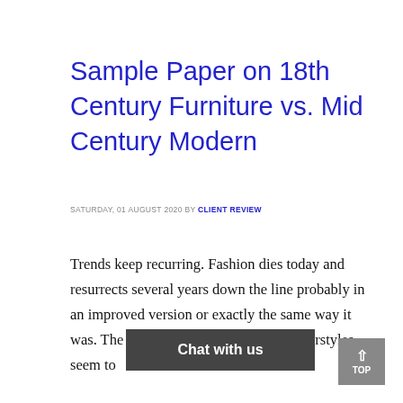Sample Paper on 18th Century Furniture vs. Mid Century Modern
SATURDAY, 01 AUGUST 2020 BY CLIENT REVIEW
Trends keep recurring. Fashion dies today and resurrects several years down the line probably in an improved version or exactly the same way it was. The dress codes, building styles, hairstyles, seem to